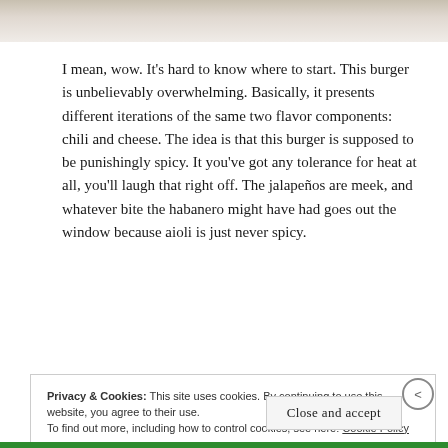[Figure (photo): Partial view of a burger or food item, cropped at the top of the page, showing creamy white topping with specks]
I mean, wow. It's hard to know where to start. This burger is unbelievably overwhelming. Basically, it presents different iterations of the same two flavor components: chili and cheese. The idea is that this burger is supposed to be punishingly spicy. It you've got any tolerance for heat at all, you'll laugh that right off. The jalapeños are meek, and whatever bite the habanero might have had goes out the window because aioli is just never spicy.
Privacy & Cookies: This site uses cookies. By continuing to use this website, you agree to their use.
To find out more, including how to control cookies, see here: Cookie Policy
Close and accept